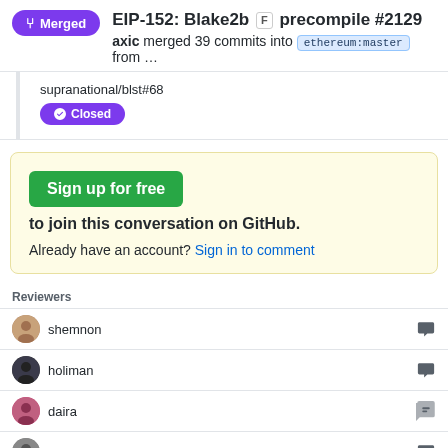EIP-152: Blake2b F precompile #2129
axic merged 39 commits into ethereum:master from …
supranational/blst#68
Closed
Sign up for free to join this conversation on GitHub.
Already have an account? Sign in to comment
Reviewers
shemnon
holiman
daira
pdyraga
prestwich